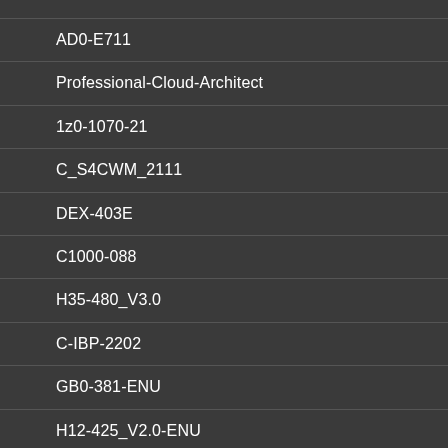AD0-E711
Professional-Cloud-Architect
1z0-1070-21
C_S4CWM_2111
DEX-403E
C1000-088
H35-480_V3.0
C-IBP-2202
GB0-381-ENU
H12-425_V2.0-ENU
H19-335_V2.0
CRT-450